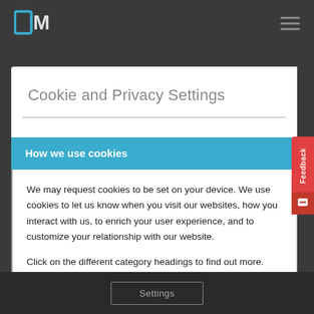[Figure (logo): OM logo with square bracket icon in teal/blue color]
Cookie and Privacy Settings
How we use cookies
We may request cookies to be set on your device. We use cookies to let us know when you visit our websites, how you interact with us, to enrich your user experience, and to customize your relationship with our website.
Click on the different category headings to find out more. You can also change some of your preferences. Note that